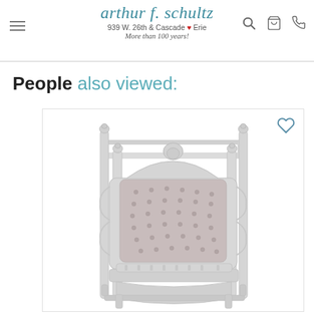arthur f. schultz — 939 W. 26th & Cascade Erie — More than 100 years!
People also viewed:
[Figure (photo): White four-poster canopy bed with tufted upholstered headboard in light grey fabric, ornate turned posts, and decorative footboard, shown at an angle against a white background.]